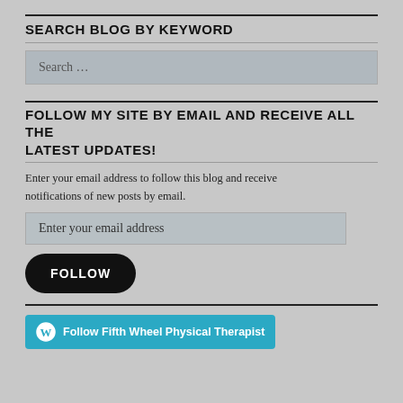SEARCH BLOG BY KEYWORD
Search …
FOLLOW MY SITE BY EMAIL AND RECEIVE ALL THE LATEST UPDATES!
Enter your email address to follow this blog and receive notifications of new posts by email.
Enter your email address
FOLLOW
Follow Fifth Wheel Physical Therapist